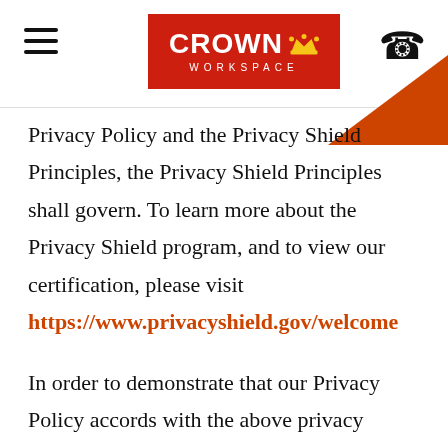Crown Workspace
Privacy Policy and the Privacy Shield Principles, the Privacy Shield Principles shall govern. To learn more about the Privacy Shield program, and to view our certification, please visit https://www.privacyshield.gov/welcome
In order to demonstrate that our Privacy Policy accords with the above privacy instrument, we are voluntarily committed to a self-assessment procedure. For any violation of the Privacy Shield framework, Crown pledges that the above terms and